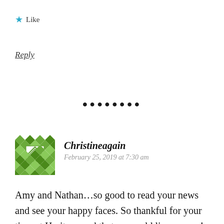★ Like
Reply
••••••••
Christineagain
February 25, 2019 at 7:30 am
Amy and Nathan…so good to read your news and see your happy faces. So thankful for your time at Heritage and that we could live on you! Pray for you every week. So glad you have such a cuddly and